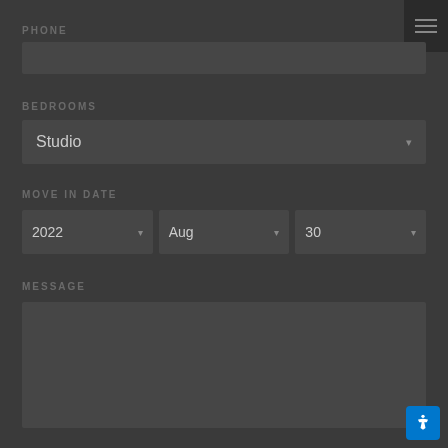PHONE
[Figure (screenshot): Phone input text field (empty), dark background]
BEDROOMS
[Figure (screenshot): Bedrooms dropdown select showing 'Studio']
MOVE IN DATE
[Figure (screenshot): Move-in date dropdowns showing 2022, Aug, 30]
MESSAGE
[Figure (screenshot): Message textarea (empty), dark background]